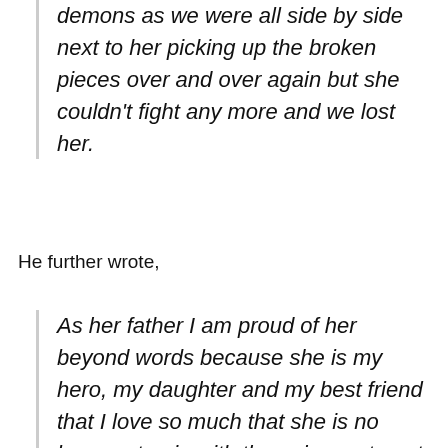demons as we were all side by side next to her picking up the broken pieces over and over again but she couldn't fight any more and we lost her.
He further wrote,
As her father I am proud of her beyond words because she is my hero, my daughter and my best friend that I love so much that she is no longer at pain with the universe to get her angel back . A big part of me is lost at the